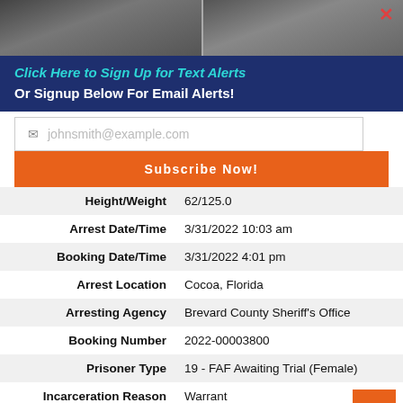[Figure (photo): Two mugshot photos side by side, both showing a person with dark hair against a plain background. An 'x' close button appears on the top right of the right photo.]
Click Here to Sign Up for Text Alerts
Or Signup Below For Email Alerts!
johnsmith@example.com (placeholder)
Subscribe Now!
| Field | Value |
| --- | --- |
| Height/Weight | 62/125.0 |
| Arrest Date/Time | 3/31/2022 10:03 am |
| Booking Date/Time | 3/31/2022 4:01 pm |
| Arrest Location | Cocoa, Florida |
| Arresting Agency | Brevard County Sheriff's Office |
| Booking Number | 2022-00003800 |
| Prisoner Type | 19 - FAF Awaiting Trial (Female) |
| Incarceration Reason | Warrant |
| Total Bond Amount | $0 |